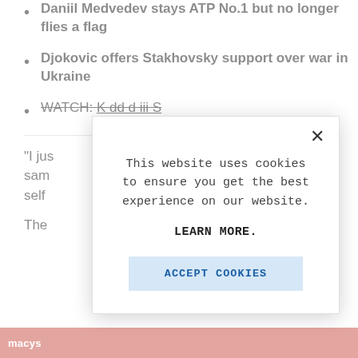Daniil Medvedev stays ATP No.1 but no longer flies a flag
Djokovic offers Stakhovsky support over war in Ukraine
WATCH: [partially obscured text]
"I jus sam self
The
[Figure (screenshot): Cookie consent modal dialog with close X button, text 'This website uses cookies to ensure you get the best experience on our website.', bold 'LEARN MORE.' link, and light blue 'ACCEPT COOKIES' button]
ACCEPT COOKIES